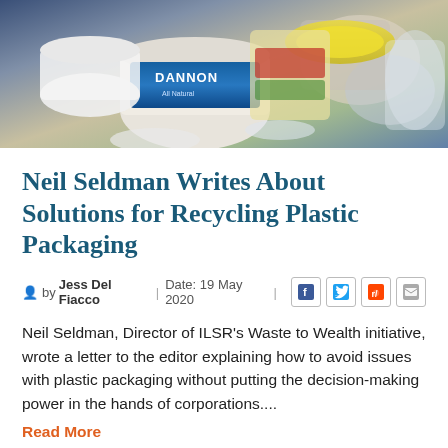[Figure (photo): Photograph of various plastic packaging containers and food containers piled together, including a Dannon yogurt container with blue and white label, other plastic cups and lids in various colors]
Neil Seldman Writes About Solutions for Recycling Plastic Packaging
by Jess Del Fiacco | Date: 19 May 2020 |
Neil Seldman, Director of ILSR’s Waste to Wealth initiative, wrote a letter to the editor explaining how to avoid issues with plastic packaging without putting the decision-making power in the hands of corporations....
Read More